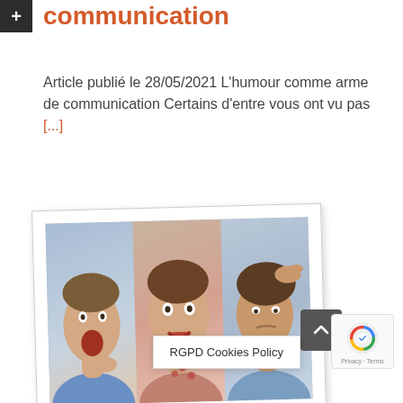communication
Article publié le 28/05/2021 L'humour comme arme de communication Certains d'entre vous ont vu pas [...]
[Figure (photo): A polaroid-style photo card tilted slightly, showing three panels of women with various expressions — one yawning/stretching neck, one with skin rash looking distressed, one scratching head]
Patients que...